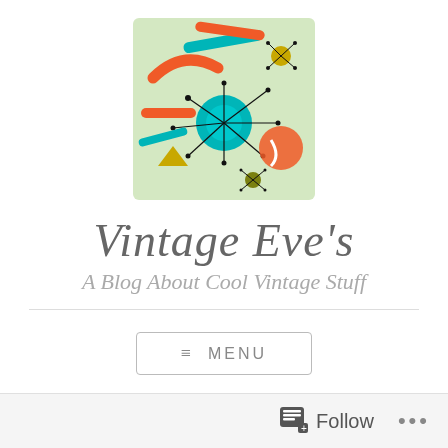[Figure (illustration): Vintage mid-century modern atomic starburst pattern illustration used as blog logo. Light green background with teal, orange, yellow, and black atomic/starburst designs.]
Vintage Eve's
A Blog About Cool Vintage Stuff
≡ MENU
Follow ...